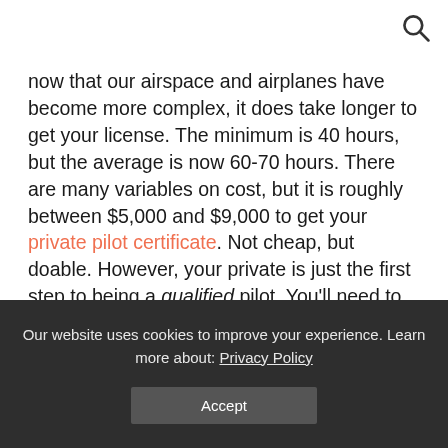now that our airspace and airplanes have become more complex, it does take longer to get your license. The minimum is 40 hours, but the average is now 60-70 hours. There are many variables on cost, but it is roughly between $5,000 and $9,000 to get your private pilot certificate. Not cheap, but doable. However, your private is just the first step to being a qualified pilot. You'll need to get your private, instrument, multi-engine, commercial, airline transport (ATP) and probably your certified flight instructor certificate (this could also mean your CFII
Our website uses cookies to improve your experience. Learn more about: Privacy Policy
Accept